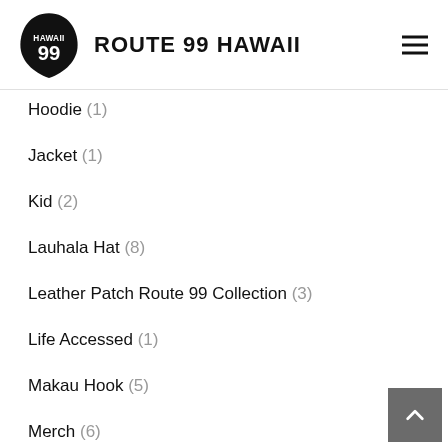ROUTE 99 HAWAII
Hoodie (1)
Jacket (1)
Kid (2)
Lauhala Hat (8)
Leather Patch Route 99 Collection (3)
Life Accessed (1)
Makau Hook (5)
Merch (6)
Nalu (1)
New (16)